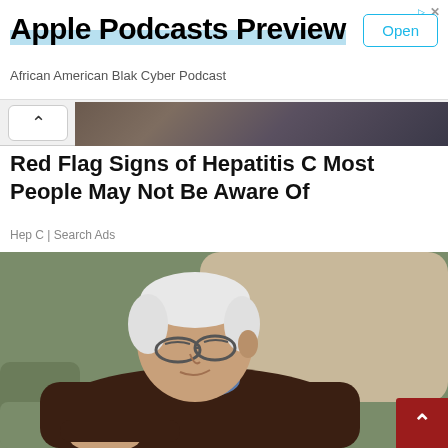[Figure (screenshot): Apple Podcasts Preview advertisement banner with Open button and subtitle 'African American Blak Cyber Podcast']
[Figure (screenshot): Partial thumbnail image strip showing dark background]
Red Flag Signs of Hepatitis C Most People May Not Be Aware Of
Hep C | Search Ads
[Figure (photo): Elderly man with white hair and glasses sleeping or resting with eyes closed in a green armchair, wearing a dark brown sweater and blue plaid shirt, arms folded]